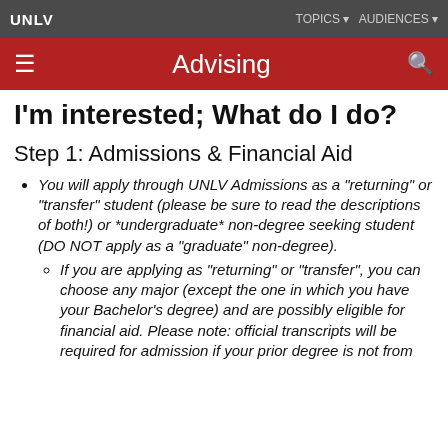UNLV | TOPICS ▾ AUDIENCES ▾
≡ Advising 🔍
I'm interested; What do I do?
Step 1: Admissions & Financial Aid
You will apply through UNLV Admissions as a "returning" or "transfer" student (please be sure to read the descriptions of both!) or *undergraduate* non-degree seeking student (DO NOT apply as a "graduate" non-degree).
If you are applying as "returning" or "transfer", you can choose any major (except the one in which you have your Bachelor's degree) and are possibly eligible for financial aid. Please note: official transcripts will be required for admission if your prior degree is not from